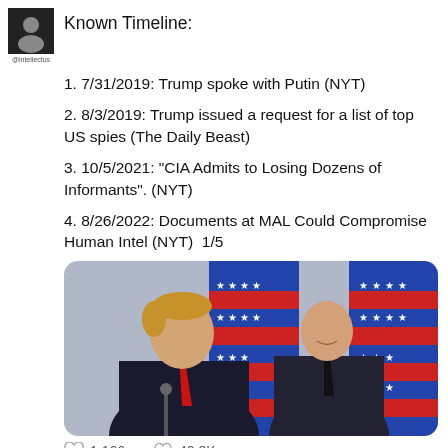[Figure (logo): Small avatar/profile icon for @intellectus with dark background]
Known Timeline:
1. 7/31/2019: Trump spoke with Putin (NYT)
2. 8/3/2019: Trump issued a request for a list of top US spies (The Daily Beast)
3. 10/5/2021: "CIA Admits to Losing Dozens of Informants". (NYT)
4. 8/26/2022: Documents at MAL Could Compromise Human Intel (NYT)  1/5
[Figure (photo): Photo of two men in dark suits standing in front of American and other flags; one man facing left, another facing right and smiling]
1,166   40.8K